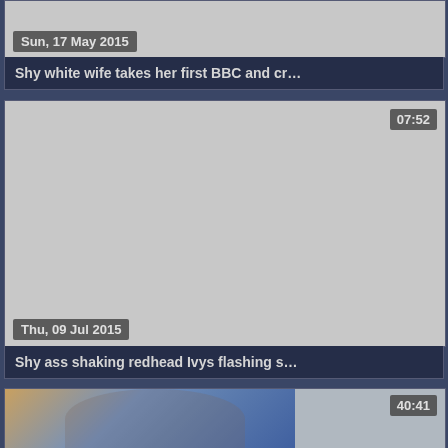[Figure (screenshot): Video thumbnail placeholder gray with date badge 'Sun, 17 May 2015']
Shy white wife takes her first BBC and cr...
[Figure (screenshot): Gray video thumbnail with duration badge '07:52' and date badge 'Thu, 09 Jul 2015']
Shy ass shaking redhead Ivys flashing s...
[Figure (photo): Photo of a woman sitting with a bag, duration badge '40:41']